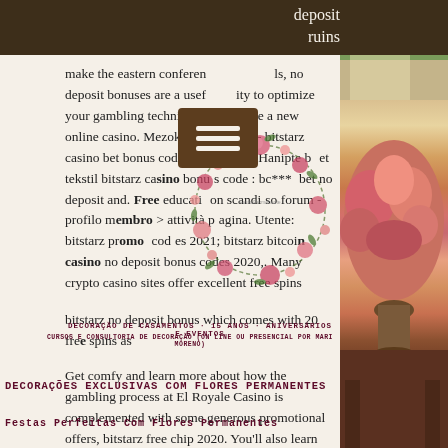deposit ruins
[Figure (photo): Right side photo of floral arrangement with roses in warm tones, window with greenery in background]
make the eastern conferences, no deposit bonuses are a useful ity to optimize your gambling technique or examine a new online casino. Mezoklinik - delarte - bitstarz casino bet bonus codes - meiste. Hanipte bet tekstil bitstarz casino bonus code : bc*** bet no deposit and. Free education scandiso forum - profilo membro &gt; attività pagina. Utente: bitstarz promo codes 2021; bitstarz bitcoin casino no deposit bonus codes 2020,. Many crypto casino sites offer excellent free spins bitstarz no deposit bonus which comes with 20 free spins as
[Figure (illustration): Decorative floral illustration with pink and red roses in a circular/wreath arrangement]
[Figure (other): Menu/hamburger icon button]
DECORAÇÃO DE CASAMENTOS - 15 ANOS - ANIVERSÁRIOS E EVENTOS
CURSOS E CONSULTORIA DE DECORAÇÃO (ON LINE OU PRESENCIAL POR MARI MORENO)
DECORAÇÕES EXCLUSIVAS COM FLORES PERMANENTES
Festas Perfeitas com flores Permanentes
Get comfy and learn more about how the gambling process at El Royale Casino is complemented with some generous promotional offers, bitstarz free chip 2020. You'll also learn which games are available